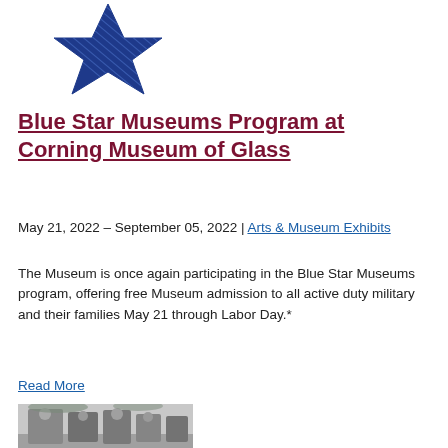[Figure (logo): Blue star logo — a dark blue five-pointed star with hatched line texture inside]
Blue Star Museums Program at Corning Museum of Glass
May 21, 2022 – September 05, 2022 | Arts & Museum Exhibits
The Museum is once again participating in the Blue Star Museums program, offering free Museum admission to all active duty military and their families May 21 through Labor Day.*
Read More
[Figure (photo): Black and white photograph of children in baseball uniforms outdoors]